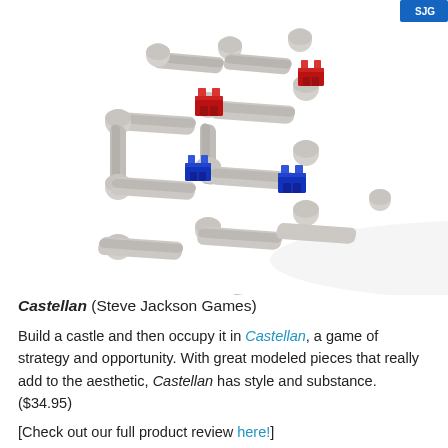[Figure (photo): 3D-printed castle board game components showing gray wall/tower pieces arranged in a grid layout with red and blue miniature building pieces placed on them, photographed from an isometric angle against a white background.]
Castellan (Steve Jackson Games)
Build a castle and then occupy it in Castellan, a game of strategy and opportunity. With great modeled pieces that really add to the aesthetic, Castellan has style and substance. ($34.95)
[Check out our full product review here!]